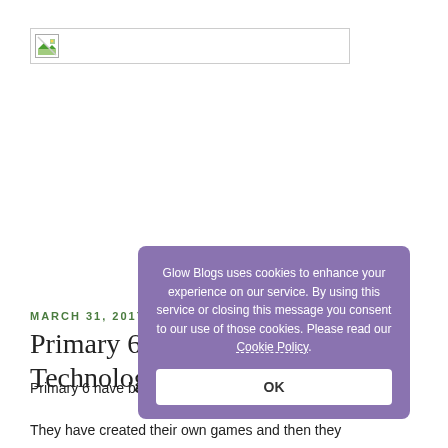[Figure (screenshot): Header banner placeholder image with broken image icon and border]
MARCH 31, 2017
Primary 6a Science and Technology
Primary 6 have been looking at electricity and circuits.
They have created their own games and then they
[Figure (screenshot): Cookie consent modal dialog with purple background. Text: 'Glow Blogs uses cookies to enhance your experience on our service. By using this service or closing this message you consent to our use of those cookies. Please read our Cookie Policy.' with an OK button.]